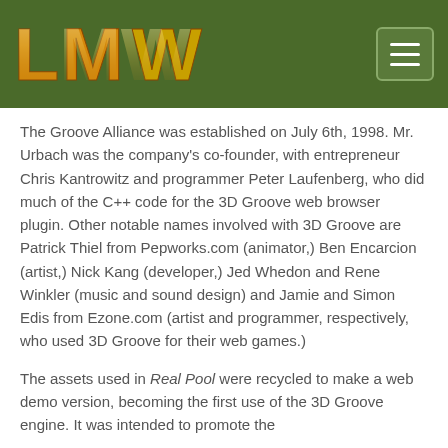[Figure (logo): LMW logo in golden/orange stylized letters on dark green header background]
The Groove Alliance was established on July 6th, 1998. Mr. Urbach was the company's co-founder, with entrepreneur Chris Kantrowitz and programmer Peter Laufenberg, who did much of the C++ code for the 3D Groove web browser plugin. Other notable names involved with 3D Groove are Patrick Thiel from Pepworks.com (animator,) Ben Encarcion (artist,) Nick Kang (developer,) Jed Whedon and Rene Winkler (music and sound design) and Jamie and Simon Edis from Ezone.com (artist and programmer, respectively, who used 3D Groove for their web games.)
The assets used in Real Pool were recycled to make a web demo version, becoming the first use of the 3D Groove engine. It was intended to promote the